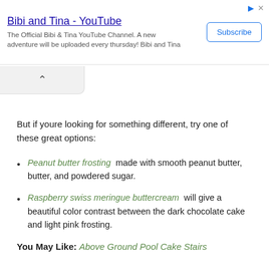[Figure (other): Advertisement banner for 'Bibi and Tina - YouTube' channel with Subscribe button and ad icons]
But if youre looking for something different, try one of these great options:
Peanut butter frosting made with smooth peanut butter, butter, and powdered sugar.
Raspberry swiss meringue buttercream will give a beautiful color contrast between the dark chocolate cake and light pink frosting.
You May Like: Above Ground Pool Cake Stairs